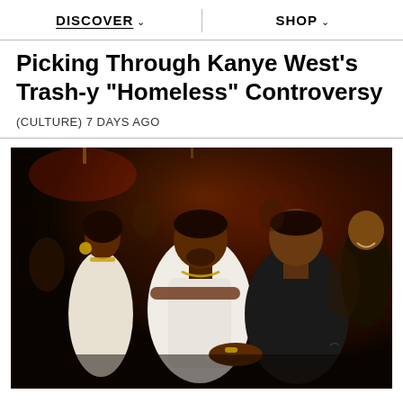DISCOVER   SHOP
Picking Through Kanye West's Trash-y "Homeless" Controversy
(CULTURE) 7 DAYS AGO
[Figure (photo): Photo of two men posing together at a party or event. One man is wearing white, the other wearing black. A woman in white is visible in the background on the left, and another person is visible on the right.]